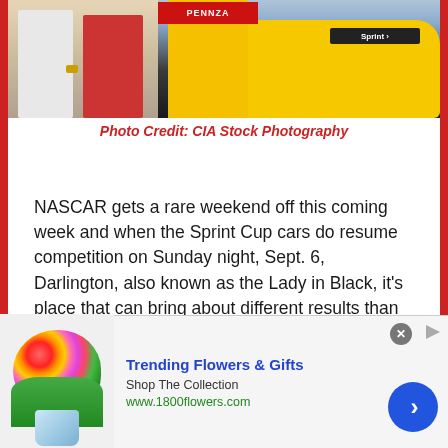[Figure (photo): NASCAR Sprint Cup scene showing a driver in a yellow racing suit with the Pennzoil logo, standing next to a yellow race car, with other people nearby in a pit or winner's circle setting.]
Photo Credit: CIA Stock Photography
NASCAR gets a rare weekend off this coming week and when the Sprint Cup cars do resume competition on Sunday night, Sept. 6, Darlington, also known as the Lady in Black, it's place that can bring about different results than we are typically accustomed to seeing on most tracks. So just who does well at ...
[Figure (photo): Advertisement banner: Trending Flowers & Gifts from 1800flowers.com. Shows a colorful flower bouquet image on the left, with text 'Trending Flowers & Gifts', 'Shop The Collection', 'www.1800flowers.com' and a blue circular next arrow button on the right. A close (X) button appears in the upper right.]